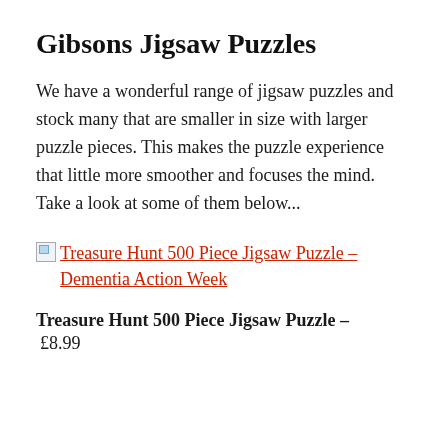Gibsons Jigsaw Puzzles
We have a wonderful range of jigsaw puzzles and stock many that are smaller in size with larger puzzle pieces. This makes the puzzle experience that little more smoother and focuses the mind. Take a look at some of them below...
[Figure (illustration): Broken image placeholder followed by red hyperlink text: 'Treasure Hunt 500 Piece Jigsaw Puzzle – Dementia Action Week']
Treasure Hunt 500 Piece Jigsaw Puzzle –
£8.99